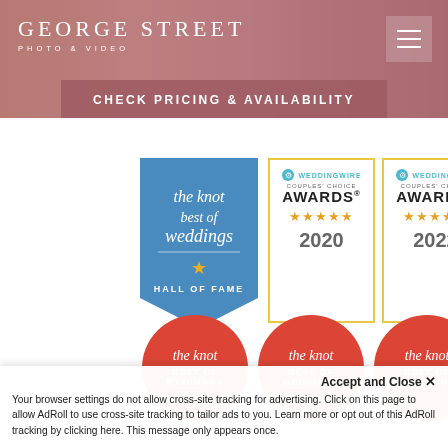[Figure (screenshot): George Street Photo & Video website header with pink/mauve background, white logo text, hamburger menu icon, hero image with olive/grey wedding photo, and 'CHECK PRICING & AVAILABILITY' banner overlay]
[Figure (logo): The Knot Best of Weddings Hall of Fame badge - blue banner-shaped badge with script 'the knot best of weddings' text, star icon, and 'HALL OF FAME' text]
[Figure (logo): WeddingWire Couples Choice Awards 2020 - yellow bordered badge with WeddingWire logo, 'COUPLES CHOICE AWARDS' text, 5 gold stars, and '2020' year]
[Figure (logo): WeddingWire Couples Choice Awards 2022 - yellow bordered badge with WeddingWire logo, 'COUPLES CHOICE AWARDS' text, 5 gold stars, and '2022' year]
[Figure (logo): The Knot Best of Weddings red circle badge (left)]
[Figure (logo): The Knot Best of Weddings red circle badge (center)]
[Figure (logo): The Knot Best of Weddings red circle badge (right)]
Accept and Close ✕
Your browser settings do not allow cross-site tracking for advertising. Click on this page to allow AdRoll to use cross-site tracking to tailor ads to you. Learn more or opt out of this AdRoll tracking by clicking here. This message only appears once.